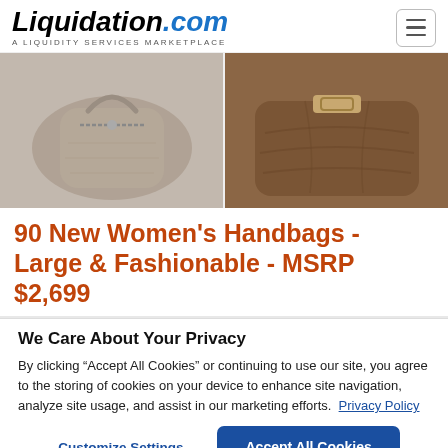Liquidation.com — A LIQUIDITY SERVICES MARKETPLACE
[Figure (photo): Two women's handbags: left is a light taupe/grey zip-up handbag, right is a brown suede slouchy handbag with buckle detail]
90 New Women's Handbags - Large & Fashionable - MSRP $2,699
We Care About Your Privacy
By clicking “Accept All Cookies” or continuing to use our site, you agree to the storing of cookies on your device to enhance site navigation, analyze site usage, and assist in our marketing efforts.  Privacy Policy
Customize Settings | Accept All Cookies